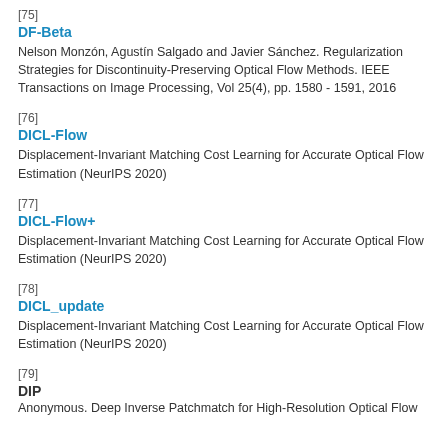[75]
DF-Beta
Nelson Monzón, Agustín Salgado and Javier Sánchez. Regularization Strategies for Discontinuity-Preserving Optical Flow Methods. IEEE Transactions on Image Processing, Vol 25(4), pp. 1580 - 1591, 2016
[76]
DICL-Flow
Displacement-Invariant Matching Cost Learning for Accurate Optical Flow Estimation (NeurIPS 2020)
[77]
DICL-Flow+
Displacement-Invariant Matching Cost Learning for Accurate Optical Flow Estimation (NeurIPS 2020)
[78]
DICL_update
Displacement-Invariant Matching Cost Learning for Accurate Optical Flow Estimation (NeurIPS 2020)
[79]
DIP
Anonymous. Deep Inverse Patchmatch for High-Resolution Optical Flow